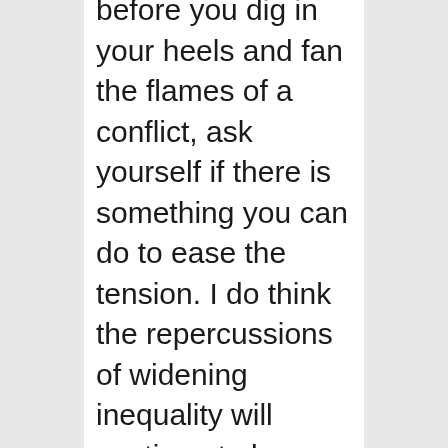before you dig in your heels and fan the flames of a conflict, ask yourself if there is something you can do to ease the tension. I do think the repercussions of widening inequality will continue to be severe, not only on moral grounds but in the name of good business. Historically it has been the buying power of the middle class that fuels corporate earnings, and that middle class can remain strong only if income levels do not further polarize. To know my career